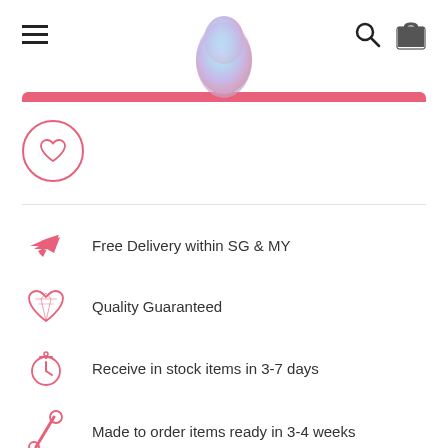[Figure (screenshot): E-commerce website header with hamburger menu, pastel egg logo, search icon, and shopping bag icon]
[Figure (illustration): Pink horizontal divider bar]
[Figure (illustration): Pink circular wishlist/heart icon button]
Free Delivery within SG & MY
Quality Guaranteed
Receive in stock items in 3-7 days
Made to order items ready in 3-4 weeks